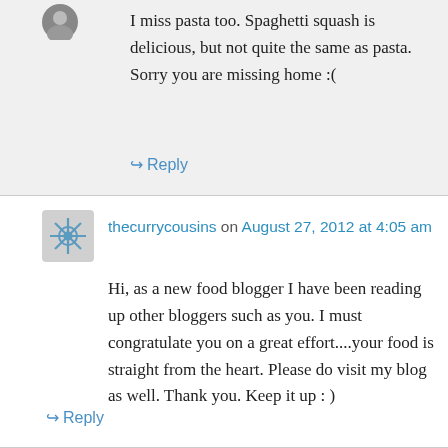I miss pasta too. Spaghetti squash is delicious, but not quite the same as pasta. Sorry you are missing home :(
↳ Reply
thecurrycousins on August 27, 2012 at 4:05 am
Hi, as a new food blogger I have been reading up other bloggers such as you. I must congratulate you on a great effort....your food is straight from the heart. Please do visit my blog as well. Thank you. Keep it up : )
↳ Reply